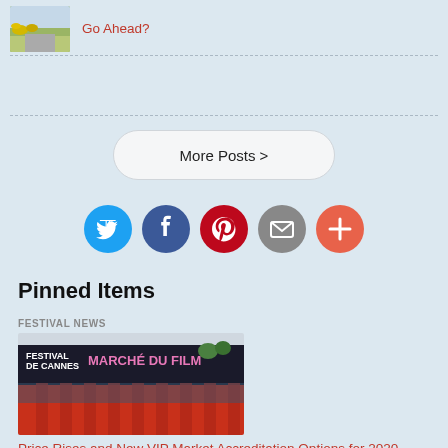[Figure (photo): Small thumbnail photo of outdoor scene with yellow flowers and a road]
Go Ahead?
More Posts >
[Figure (infographic): Social sharing icons: Twitter (blue), Facebook (dark blue), Pinterest (red), Email (gray), More/Plus (orange-red)]
Pinned Items
FESTIVAL NEWS
[Figure (photo): Photo of Festival de Cannes Marché du Film building exterior with pillars and signage]
Price Rises and New VIP Market Accreditation Options for 2020...